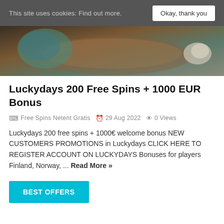This site uses cookies: Find out more. Okay, thank you
[Figure (photo): Partial view of a wooden bowl or table surface with teal/blue decorative elements and a hand holding something white, dark-toned background]
Luckydays 200 Free Spins + 1000 EUR Bonus
Free Spins Netent Gratis   29 Aug 2022   0 Views
Luckydays 200 free spins + 1000€ welcome bonus NEW CUSTOMERS PROMOTIONS in Luckydays CLICK HERE TO REGISTER ACCOUNT ON LUCKYDAYS Bonuses for players Finland, Norway, ... Read More »
BEST OFFERS